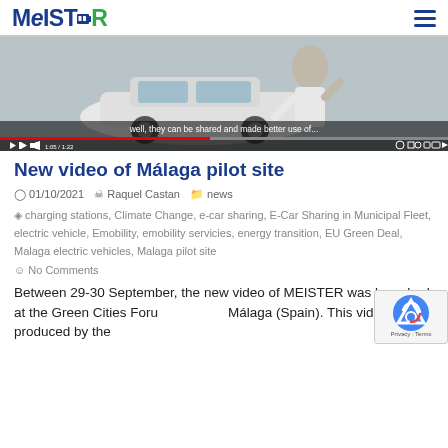MEISTER [logo] [hamburger menu]
[Figure (screenshot): Video thumbnail showing a white electric car with a person beside it, with YouTube-style controls at the bottom. Subtitle text reads: 'well, they can be shared and made better use of...' Progress bar shown at approximately 1:05/1:22.]
New video of Málaga pilot site
01/10/2021   Raquel Castan   news
charging stations, Climate Change, e-car sharing, E-Car Sharing in Municipal Fleet, electric vehicle, Emobility, emobility servicies, energy transition, EU Green Deal, Malaga electric vehicles, Malaga pilot site
No Comments
Between 29-30 September, the new video of MEISTER was launched at the Green Cities Forum Málaga (Spain). This video was produced by the